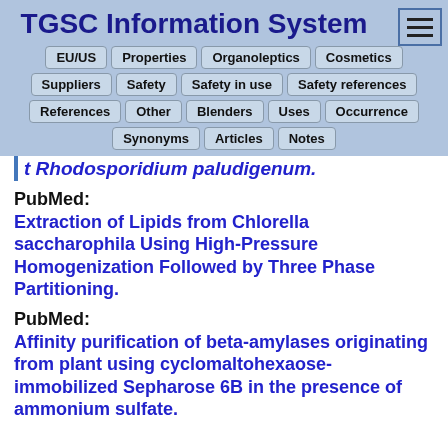TGSC Information System
EU/US | Properties | Organoleptics | Cosmetics
Suppliers | Safety | Safety in use | Safety references
References | Other | Blenders | Uses | Occurrence
Synonyms | Articles | Notes
t Rhodosporidium paludigenum.
PubMed:
Extraction of Lipids from Chlorella saccharophila Using High-Pressure Homogenization Followed by Three Phase Partitioning.
PubMed:
Affinity purification of beta-amylases originating from plant using cyclomaltohexaose-immobilized Sepharose 6B in the presence of ammonium sulfate.